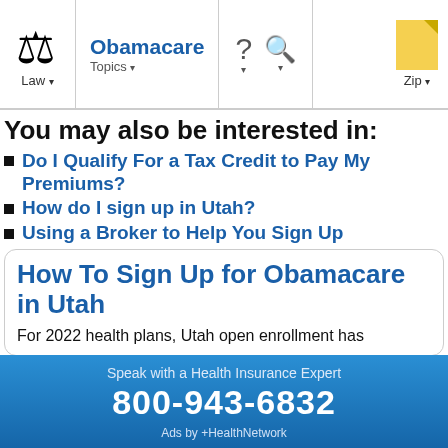Law | Obamacare Topics | ? | Search | Zip
You may also be interested in:
Do I Qualify For a Tax Credit to Pay My Premiums?
How do I sign up in Utah?
Using a Broker to Help You Sign Up
How To Sign Up for Obamacare in Utah
For 2022 health plans, Utah open enrollment has
Speak with a Health Insurance Expert
800-943-6832
Ads by +HealthNetwork